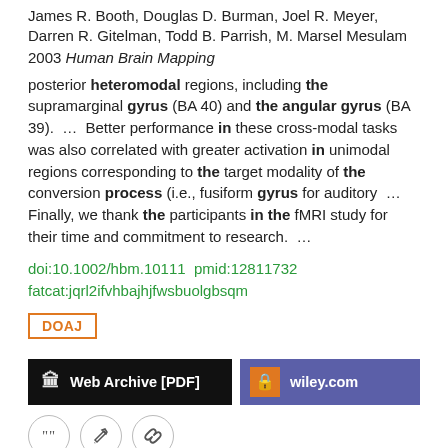James R. Booth, Douglas D. Burman, Joel R. Meyer, Darren R. Gitelman, Todd B. Parrish, M. Marsel Mesulam
2003 Human Brain Mapping
posterior heteromodal regions, including the supramarginal gyrus (BA 40) and the angular gyrus (BA 39).  ...  Better performance in these cross-modal tasks was also correlated with greater activation in unimodal regions corresponding to the target modality of the conversion process (i.e., fusiform gyrus for auditory  ...  Finally, we thank the participants in the fMRI study for their time and commitment to research.  ...
doi:10.1002/hbm.10111  pmid:12811732
fatcat:jqrl2ifvhbajhjfwsbuolgbsqm
DOAJ
[Figure (other): Web Archive [PDF] and wiley.com access buttons]
[Figure (other): Three icon buttons: quote, edit, link]
The neurocognitive basis of knowledge about object identity and events: dissociations reflect opposing effects of semantic coherence and control
Elizabeth Jefferies, Hannah Thompson, Piers Cornelissen,